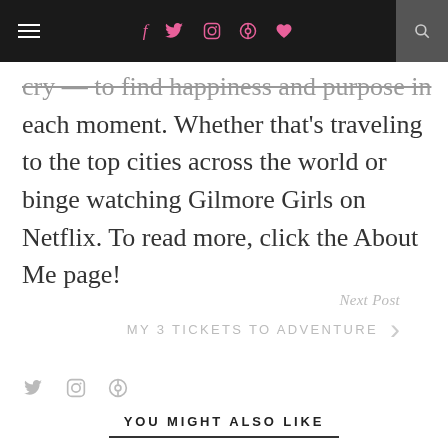≡  f  🐦  ◎  ⊕  ♥  🔍
cry — to find happiness and purpose in each moment. Whether that's traveling to the top cities across the world or binge watching Gilmore Girls on Netflix. To read more, click the About Me page!
[Figure (other): Social media icons: Twitter, Instagram, Pinterest in grey]
Next Post
MY 3 TICKETS TO ADVENTURE
YOU MIGHT ALSO LIKE